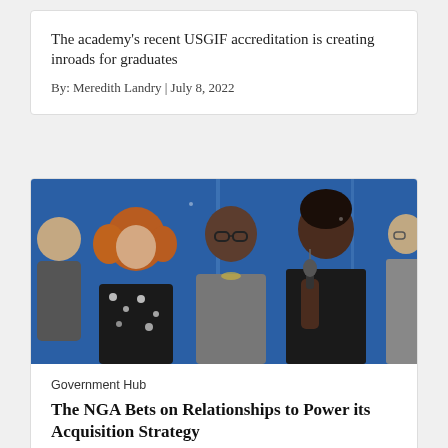The academy's recent USGIF accreditation is creating inroads for graduates
By: Meredith Landry | July 8, 2022
[Figure (photo): Panel of people at a conference; a woman in a black jacket holds a microphone speaking, with others seated beside her in front of a blue backdrop.]
Government Hub
The NGA Bets on Relationships to Power its Acquisition Strategy
Seeking expanded agility, collaboration, and